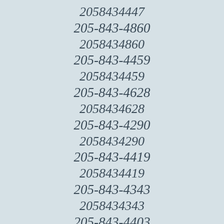2058434447
205-843-4860
2058434860
205-843-4459
2058434459
205-843-4628
2058434628
205-843-4290
2058434290
205-843-4419
2058434419
205-843-4343
2058434343
205-843-4403
2058434403
205-843-4315